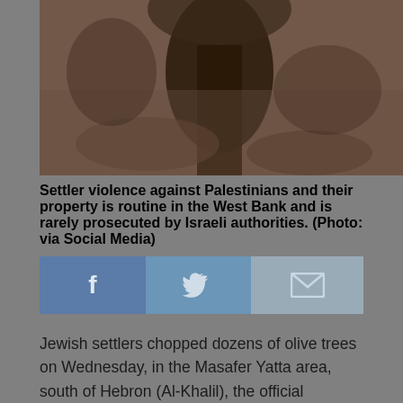[Figure (photo): A dark, close-up photograph of a tree trunk or chopped olive tree against a brown/earth-toned background, likely in an outdoor setting.]
Settler violence against Palestinians and their property is routine in the West Bank and is rarely prosecuted by Israeli authorities. (Photo: via Social Media)
[Figure (infographic): Social media share buttons: Facebook (blue), Twitter (lighter blue), and Email (grey-blue) icons in a horizontal bar.]
Jewish settlers chopped dozens of olive trees on Wednesday, in the Masafer Yatta area, south of Hebron (Al-Khalil), the official Palestinian news agency WAFA reported.
Fouad al-Imour, a local activist,  told WAFA that dozens of Jewish settlers – from the illegal settlement of Mitzpe Yair – chopped 70 olive trees in the village of Khillit al-Dabe, owned by a local resident.